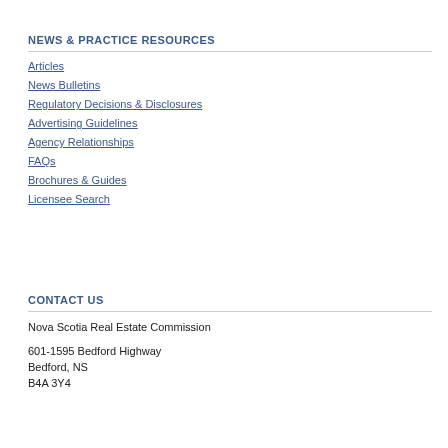NEWS & PRACTICE RESOURCES
Articles
News Bulletins
Regulatory Decisions & Disclosures
Advertising Guidelines
Agency Relationships
FAQs
Brochures & Guides
Licensee Search
CONTACT US
Nova Scotia Real Estate Commission
601-1595 Bedford Highway
Bedford, NS
B4A 3Y4